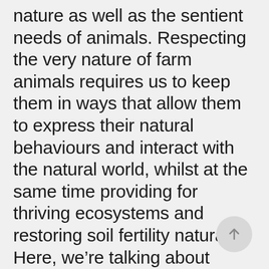nature as well as the sentient needs of animals. Respecting the very nature of farm animals requires us to keep them in ways that allow them to express their natural behaviours and interact with the natural world, whilst at the same time providing for thriving ecosystems and restoring soil fertility naturally. Here, we're talking about genuinely light-on-the-land rotational systems that incorporate pasture-fed, free range or organic principles.